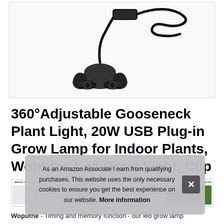[Figure (photo): Product photo of Woputne gooseneck LED plant grow light clip with black housing and coiled cable, shown on white background]
360°Adjustable Gooseneck Plant Light, 20W USB Plug-in Grow Lamp for Indoor Plants, Woputne Led Grow Light, Clip to Anywhere
[Figure (screenshot): Row of four product feature thumbnails: Memory Timer, Spectrum info, Spectrum Modes, Before/After plant comparison]
As an Amazon Associate I earn from qualifying purchases. This website uses the only necessary cookies to ensure you get the best experience on our website. More information
Woputne - Timing and memory function - our led grow lamp